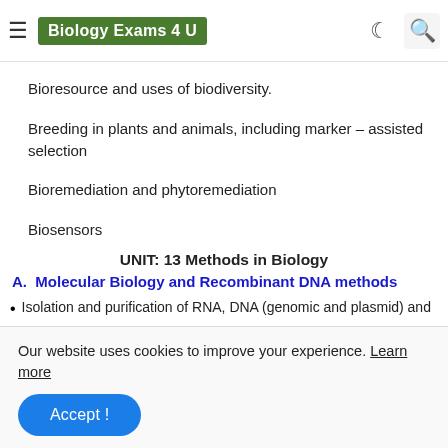Biology Exams 4 U
Bioresource and uses of biodiversity.
Breeding in plants and animals, including marker – assisted selection
Bioremediation and phytoremediation
Biosensors
UNIT: 13 Methods in Biology
A.  Molecular Biology and Recombinant DNA methods
• Isolation and purification of RNA, DNA (genomic and plasmid) and
Our website uses cookies to improve your experience. Learn more
Accept !